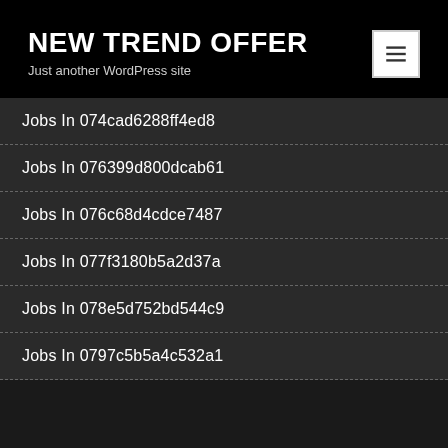NEW TREND OFFER
Just another WordPress site
Jobs In 074cad6288ff4ed8
Jobs In 076399d800dcab61
Jobs In 076c68d4cdce7487
Jobs In 077f3180b5a2d37a
Jobs In 078e5d752bd544c9
Jobs In 0797c5b5a4c532a1